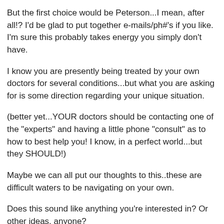But the first choice would be Peterson...I mean, after all!? I'd be glad to put together e-mails/ph#'s if you like. I'm sure this probably takes energy you simply don't have.
I know you are presently being treated by your own doctors for several conditions...but what you are asking for is some direction regarding your unique situation.
(better yet...YOUR doctors should be contacting one of the "experts" and having a little phone "consult" as to how to best help you! I know, in a perfect world...but they SHOULD!)
Maybe we can all put our thoughts to this..these are difficult waters to be navigating on your own.
Does this sound like anything you're interested in? Or other ideas, anyone?
j
Mar 31, 2010